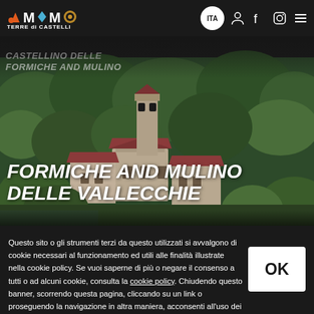MAMO TERRE di CASTELLI — ITA [nav icons]
[Figure (photo): Aerial view of Castellino delle Formiche and Mulino delle Vallecchie, historic stone buildings with red-tiled roofs surrounded by dense green trees]
CASTELLINO DELLE FORMICHE AND MULINO DELLE VALLECCHIE
Questo sito o gli strumenti terzi da questo utilizzati si avvalgono di cookie necessari al funzionamento ed utili alle finalità illustrate nella cookie policy. Se vuoi saperne di più o negare il consenso a tutti o ad alcuni cookie, consulta la cookie policy. Chiudendo questo banner, scorrendo questa pagina, cliccando su un link o proseguendo la navigazione in altra maniera, acconsenti all'uso dei cookie.